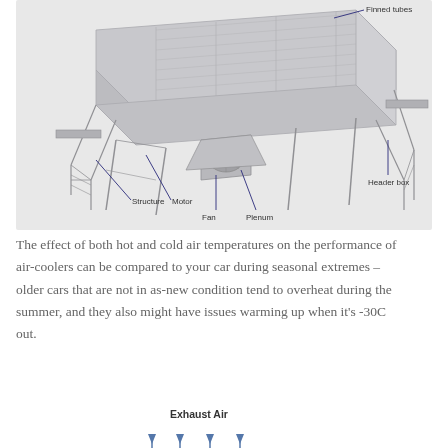[Figure (engineering-diagram): 3D isometric illustration of an air-cooled heat exchanger (air cooler) with labeled components: Finned tubes (top right), Structure (bottom left), Motor (bottom left-center), Fan (bottom center-left), Plenum (bottom center), Header box (bottom right). The unit sits on a steel support structure with staircases on both sides.]
The effect of both hot and cold air temperatures on the performance of air-coolers can be compared to your car during seasonal extremes – older cars that are not in as-new condition tend to overheat during the summer, and they also might have issues warming up when it's -30C out.
[Figure (schematic): Partial diagram showing 'Exhaust Air' label with upward-pointing arrows, indicating air flow direction in an air cooler system. Only the top portion is visible.]